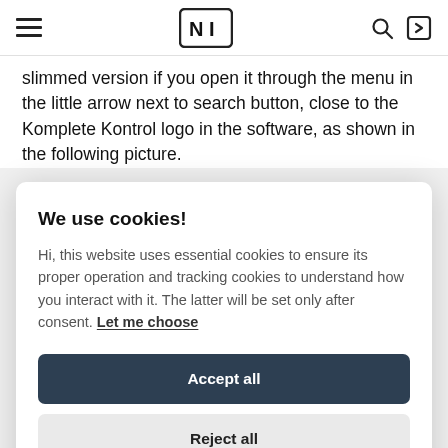NI logo, hamburger menu, search icon, login icon
slimmed version if you open it through the menu in the little arrow next to search button, close to the Komplete Kontrol logo in the software, as shown in the following picture.
We use cookies!
Hi, this website uses essential cookies to ensure its proper operation and tracking cookies to understand how you interact with it. The latter will be set only after consent. Let me choose
Accept all
Reject all
33